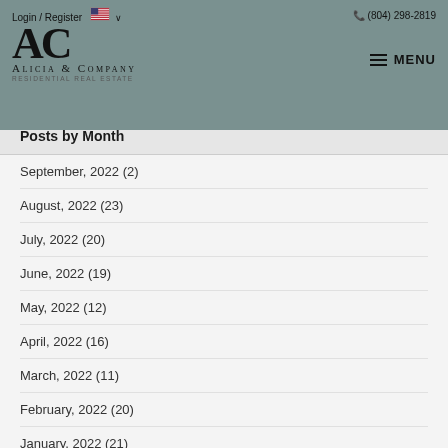Login / Register  (804) 298-2819  MENU  Alicia & Company Residential Real Estate
Posts by Month
September, 2022 (2)
August, 2022 (23)
July, 2022 (20)
June, 2022 (19)
May, 2022 (12)
April, 2022 (16)
March, 2022 (11)
February, 2022 (20)
January, 2022 (21)
December, 2021 (21)